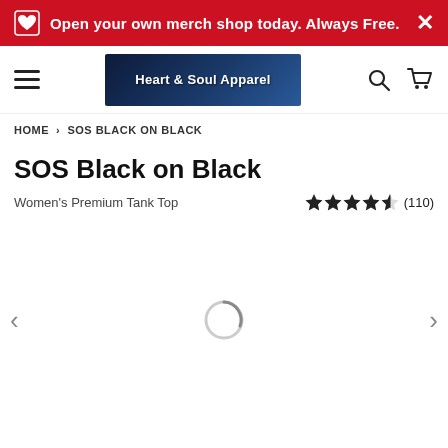Open your own merch shop today. Always Free.
[Figure (screenshot): Heart & Soul Apparel logo banner with city skyline background]
HOME > SOS BLACK ON BLACK
SOS Black on Black
Women's Premium Tank Top  ★★★★☆ (110)